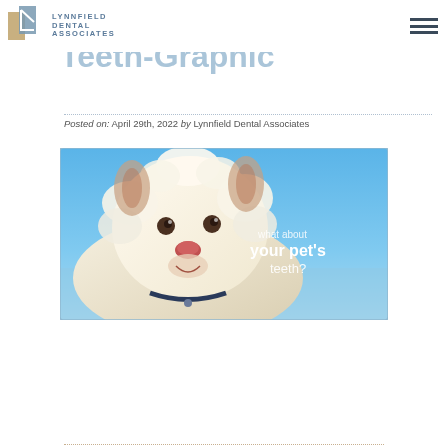Lynnfield Dental Associates
What About Your Pet's Teeth-Graphic
Posted on: April 29th, 2022 by Lynnfield Dental Associates
[Figure (photo): A fluffy white Pomeranian dog on a blue sky background with text overlay reading 'what about your pet's teeth?']